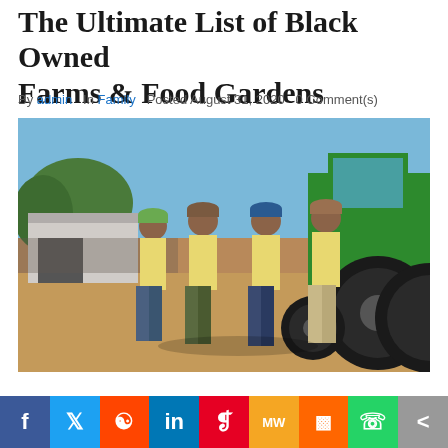The Ultimate List of Black Owned Farms & Food Gardens
By admin   In Family   Posted August 31, 2020   0 Comment(s)
[Figure (photo): Four young men in matching yellow polo shirts and caps standing in front of a large green John Deere tractor on a farm, with a barn and crowd visible in the background.]
Social share bar: Facebook, Twitter, Reddit, LinkedIn, Pinterest, MeWe, Mix, WhatsApp, Share